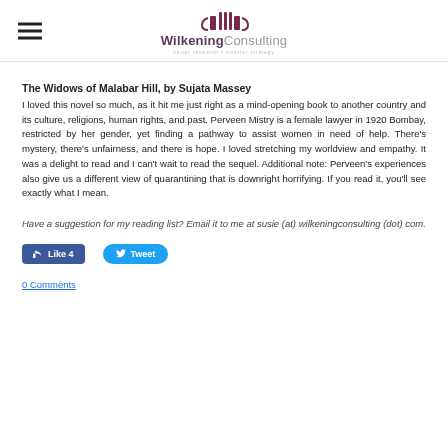WilkeningConsulting
The Widows of Malabar Hill, by Sujata Massey
I loved this novel so much, as it hit me just right as a mind-opening book to another country and its culture, religions, human rights, and past. Perveen Mistry is a female lawyer in 1920 Bombay, restricted by her gender, yet finding a pathway to assist women in need of help. There's mystery, there's unfairness, and there is hope. I loved stretching my worldview and empathy. It was a delight to read and I can't wait to read the sequel. Additional note: Perveen's experiences also give us a different view of quarantining that is downright horrifying. If you read it, you'll see exactly what I mean.
Have a suggestion for my reading list? Email it to me at susie (at) wilkeningconsulting (dot) com.
Like 4   Tweet
0 Comments